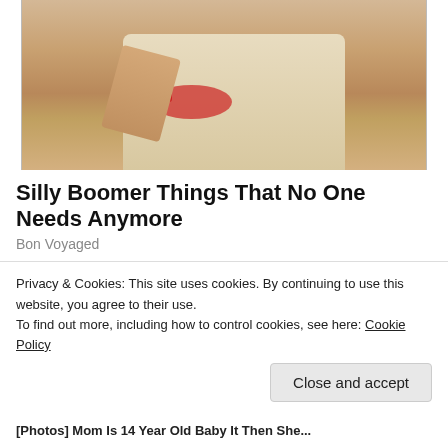[Figure (photo): Photo of a person wearing a white t-shirt with red logo and wristband, American flag visible in background]
Silly Boomer Things That No One Needs Anymore
Bon Voyaged
[Figure (photo): Left: photo of a young girl with straight blonde-brown hair. Right: Samsung phone screen showing text messages in 'Moms Edge' conversation reading 'Mom Im' and 'He is inside m here me']
Privacy & Cookies: This site uses cookies. By continuing to use this website, you agree to their use.
To find out more, including how to control cookies, see here: Cookie Policy
[Photos] Mom Is 14 Year Old Baby It Then She...